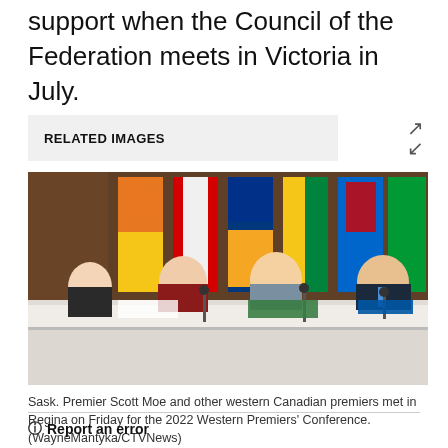support when the Council of the Federation meets in Victoria in July.
RELATED IMAGES
[Figure (photo): Four people seated at a long table with Canadian provincial flags in the background, including Sask. Premier Scott Moe and other western Canadian premiers at the 2022 Western Premiers' Conference in Regina.]
Sask. Premier Scott Moe and other western Canadian premiers met in Regina on Friday for the 2022 Western Premiers' Conference. (WayneMantyka/CTVNews)
Report an error